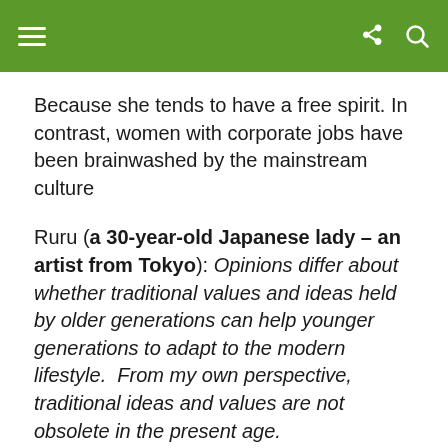[navigation header with hamburger menu, share icon, search icon]
Because she tends to have a free spirit. In contrast, women with corporate jobs have been brainwashed by the mainstream culture
Ruru (a 30-year-old Japanese lady – an artist from Tokyo): Opinions differ about whether traditional values and ideas held by older generations can help younger generations to adapt to the modern lifestyle.  From my own perspective, traditional ideas and values are not obsolete in the present age.
Many traditional values and beliefs are timeless virtues that are still strongly relevant today.  In the first place, family is always important no matter it is